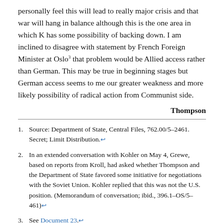personally feel this will lead to really major crisis and that war will hang in balance although this is the one area in which K has some possibility of backing down. I am inclined to disagree with statement by French Foreign Minister at Oslo³ that problem would be Allied access rather than German. This may be true in beginning stages but German access seems to me our greater weakness and more likely possibility of radical action from Communist side.
Thompson
1. Source: Department of State, Central Files, 762.00/5-2461. Secret; Limit Distribution.↩
2. In an extended conversation with Kohler on May 4, Grewe, based on reports from Kroll, had asked whether Thompson and the Department of State favored some initiative for negotiations with the Soviet Union. Kohler replied that this was not the U.S. position. (Memorandum of conversation; ibid., 396.1-OS/5-461)↩
3. See Document 23.↩